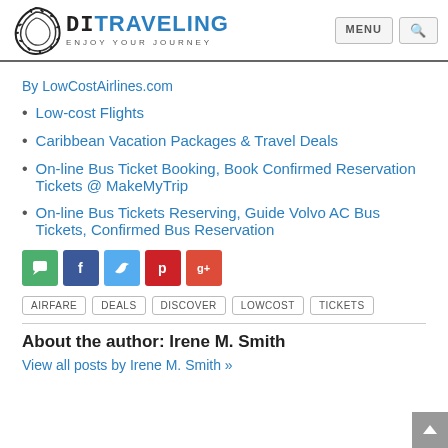DITRAVELING ENJOY YOUR JOURNEY | MENU | Search
By LowCostAirlines.com
Low-cost Flights
Caribbean Vacation Packages & Travel Deals
On-line Bus Ticket Booking, Book Confirmed Reservation Tickets @ MakeMyTrip
On-line Bus Tickets Reserving, Guide Volvo AC Bus Tickets, Confirmed Bus Reservation
[Figure (infographic): Social sharing icons: comment (green), Facebook (blue), Twitter (light blue), Pinterest (red), Google+ (orange-red)]
AIRFARE  DEALS  DISCOVER  LOWCOST  TICKETS
About the author: Irene M. Smith
View all posts by Irene M. Smith »